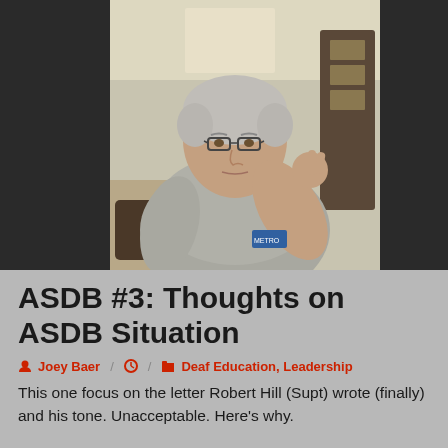[Figure (photo): A middle-aged man with gray hair and glasses, wearing a gray t-shirt, making a hand gesture, seated indoors. The image appears to be a video thumbnail or screenshot.]
ASDB #3: Thoughts on ASDB Situation
Joey Baer / Deaf Education, Leadership
This one focus on the letter Robert Hill (Supt) wrote (finally) and his tone. Unacceptable. Here's why.